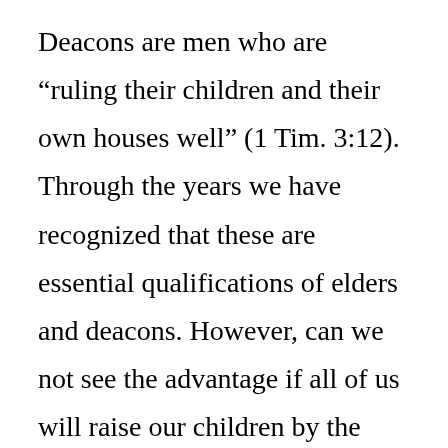Deacons are men who are “ruling their children and their own houses well” (1 Tim. 3:12). Through the years we have recognized that these are essential qualifications of elders and deacons. However, can we not see the advantage if all of us will raise our children by the same guidelines and discipline as they are to use? If their families are better because they have been raised properly, so will ours be better if we will do the same thing. It is foolhardy to think I can neglect my parental